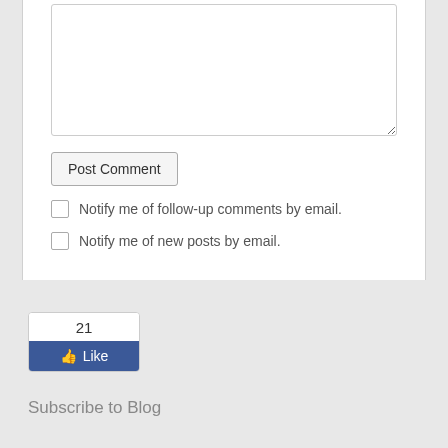[Figure (screenshot): Empty textarea input box for comment entry]
[Figure (screenshot): Post Comment button]
Notify me of follow-up comments by email.
Notify me of new posts by email.
[Figure (screenshot): Facebook Like widget showing count of 21 and a blue Like button with thumbs up icon]
Subscribe to Blog